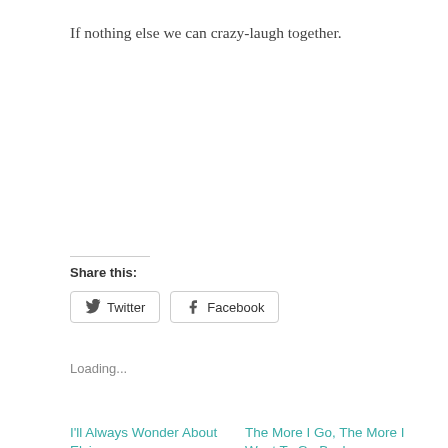If nothing else we can crazy-laugh together.
Share this:
Twitter
Facebook
Loading...
I'll Always Wonder About Elvis
August 12, 2022
In "I Am"
The More I Go, The More I Want To Go Back
April 28, 2018
In "I Think"
Take The Whole 'Hashtag Blessed' Thing
November 28, 2019